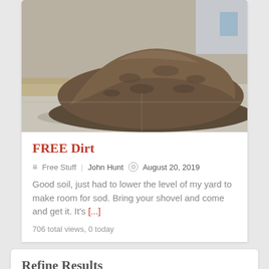[Figure (photo): A large pile of dark brown soil/dirt on a concrete driveway or sidewalk, with a house or building visible in the background. Outdoor daylight photo.]
FREE Dirt
Free Stuff   John Hunt   August 20, 2019
Good soil, just had to lower the level of my yard to make room for sod. Bring your shovel and come and get it. It's [...]
706 total views, 0 today
Refine Results